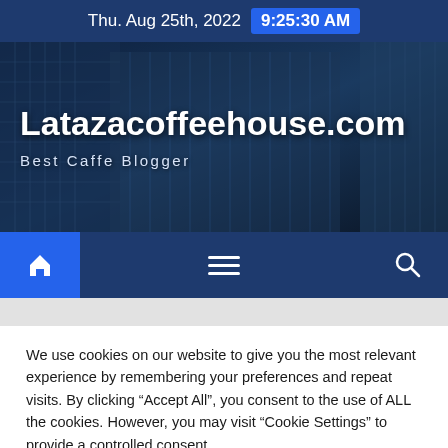Thu. Aug 25th, 2022  9:25:30 AM
[Figure (screenshot): Website hero banner showing Latazacoffeehouse.com with building background image, title and subtitle]
Latazacoffeehouse.com
Best Caffe Blogger
[Figure (screenshot): Navigation bar with home icon (blue highlighted), hamburger menu, and search icon on dark blue background]
We use cookies on our website to give you the most relevant experience by remembering your preferences and repeat visits. By clicking "Accept All", you consent to the use of ALL the cookies. However, you may visit "Cookie Settings" to provide a controlled consent.
Cookie Settings
Accept All